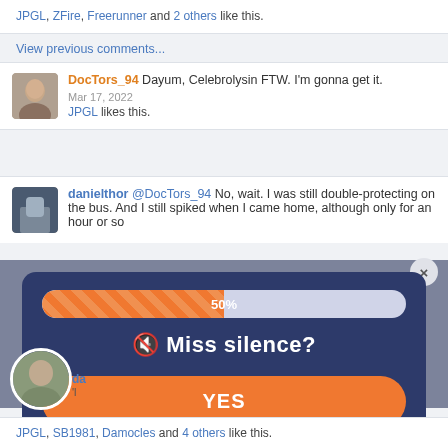JPGL, ZFire, Freerunner and 2 others like this.
View previous comments...
DocTors_94 Dayum, Celebrolysin FTW. I'm gonna get it.
Mar 17, 2022
JPGL likes this.
danielthor @DocTors_94 No, wait. I was still double-protecting on the bus. And I still spiked when I came home, although only for an hour or so
[Figure (infographic): A modal dialog overlay on a dark navy background. It contains a striped orange progress bar showing 50%, a question '🔇 Miss silence?', and two large orange pill-shaped buttons labeled YES and NO. A close (×) button appears at top right.]
JPGL, SB1981, Damocles and 4 others like this.